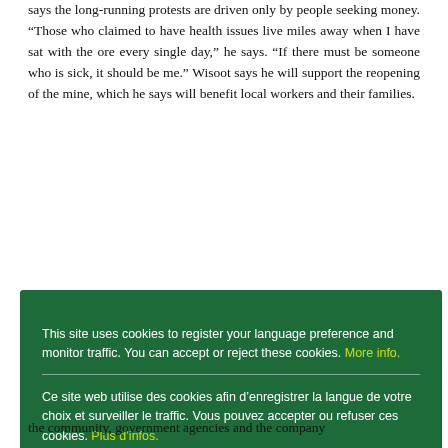says the long-running protests are driven only by people seeking money. “Those who claimed to have health issues live miles away when I have sat with the ore every single day,” he says. “If there must be someone who is sick, it should be me.” Wisoot says he will support the reopening of the mine, which he says will benefit local workers and their families.
This site uses cookies to register your language preference and monitor traffic. You can accept or reject these cookies. More info.
Ce site web utilise des cookies afin d’enregistrer la langue de votre choix et surveiller le traffic. Vous pouvez accepter ou refuser ces cookies. Plus d’infos.
Este sitio web utiliza cookies con el objetivo de registrar su idioma preferido y controlar el tráfico. Puede aceptar o rechazar estas cookies. Mayor información.
Ok
the community, government agencies and the company